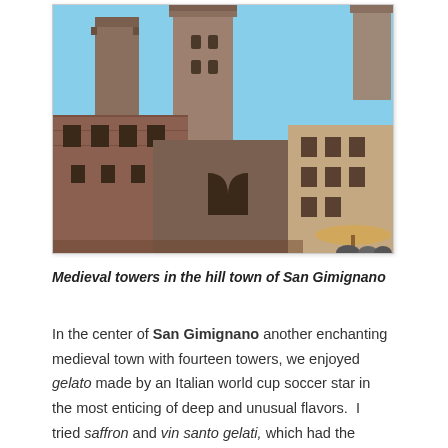[Figure (photo): Photograph of medieval stone towers and buildings in the hill town of San Gimignano, with a blue sky background. Multiple tall stone towers rise above terracotta and stone medieval buildings. An archway and what appears to be a market umbrella are visible at the lower right.]
Medieval towers in the hill town of San Gimignano
In the center of San Gimignano another enchanting medieval town with fourteen towers, we enjoyed gelato made by an Italian world cup soccer star in the most enticing of deep and unusual flavors.  I tried saffron and vin santo gelati, which had the flavor of the sweet dessert “holy wine”.   I also learned that the